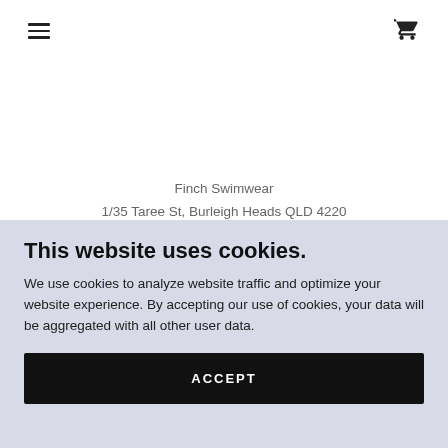☰  [hamburger menu] | [cart icon]
Finch Swimwear
1/35 Taree St, Burleigh Heads QLD 4220
This website uses cookies.
We use cookies to analyze website traffic and optimize your website experience. By accepting our use of cookies, your data will be aggregated with all other user data.
ACCEPT